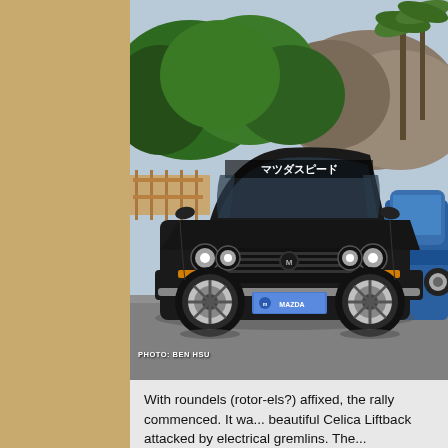[Figure (photo): Front view of a dark brown/black vintage Mazda classic car (appears to be a Mazda RX series coupe) with Japanese katakana script 'マツダスピード' on the windshield banner, four round headlights, chrome grille, and a blue MAZDA license plate. Parked in a sunny location with green trees, rocky hills, and palm trees in the background. A blue car is partially visible on the right. Photo credit: BEN HSU.]
PHOTO: BEN HSU
With roundels (rotor-els?) affixed, the rally commenced. It wa... beautiful Celica Liftback attacked by electrical gremlins. The...